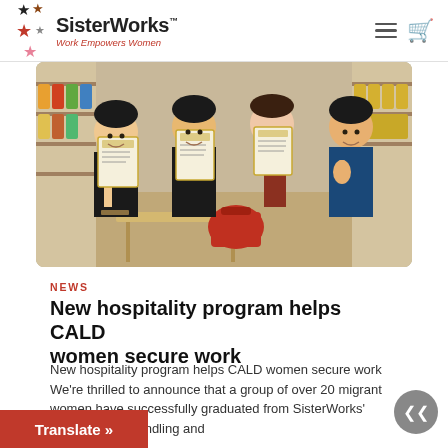SisterWorks™ — Work Empowers Women
[Figure (photo): Four women standing together in a supermarket/store aisle, smiling and holding up certificates. Three are holding framed/paper certificates. One woman on the right gives a thumbs up. Store shelves with colorful products visible in the background. One woman wears a face mask pulled down.]
NEWS
New hospitality program helps CALD women secure work
New hospitality program helps CALD women secure work We're thrilled to announce that a group of over 20 migrant women have successfully graduated from SisterWorks' newest Food Handling and